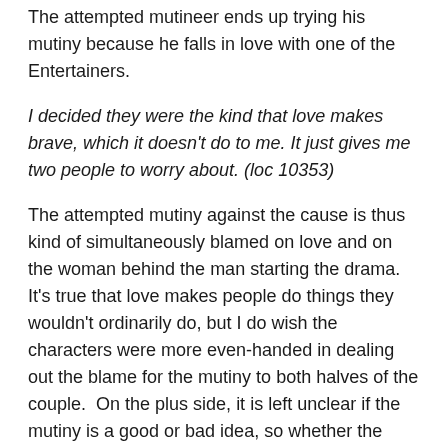The attempted mutineer ends up trying his mutiny because he falls in love with one of the Entertainers.
I decided they were the kind that love makes brave, which it doesn't do to me. It just gives me two people to worry about. (loc 10353)
The attempted mutiny against the cause is thus kind of simultaneously blamed on love and on the woman behind the man starting the drama.  It's true that love makes people do things they wouldn't ordinarily do, but I do wish the characters were more even-handed in dealing out the blame for the mutiny to both halves of the couple.  On the plus side, it is left unclear if the mutiny is a good or bad idea, so whether the idealistic couple in love are right or not is up to the reader to decide.
The final bit of the book dives into theories about time-